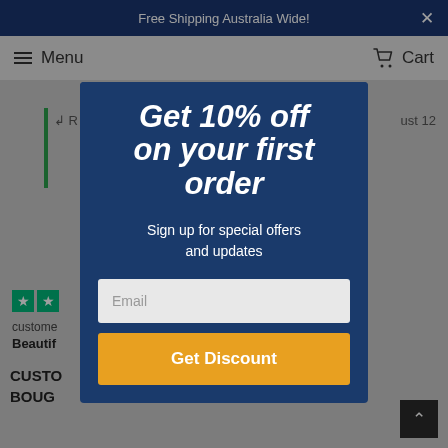Free Shipping Australia Wide!
Menu  Cart
[Figure (screenshot): Background webpage with Trustpilot stars, partial review text 'Beautif...' and partial section header 'CUSTO... BOUG...']
Get 10% off on your first order
Sign up for special offers and updates
Email
Get Discount